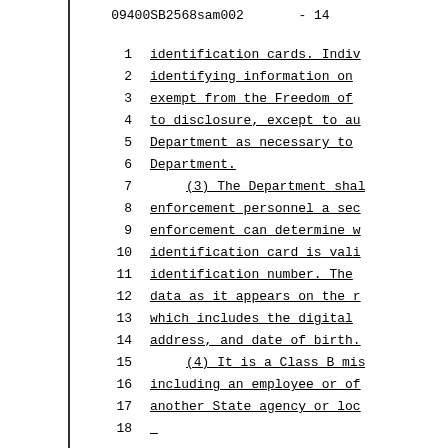09400SB2568sam002         - 14
1    identification cards. Indiv
2    identifying information on
3    exempt from the Freedom of
4    to disclosure, except to au
5    Department as necessary to
6    Department.
7        (3) The Department shal
8    enforcement personnel a sec
9    enforcement can determine w
10   identification card is vali
11   identification number. The
12   data as it appears on the r
13   which includes the digital
14   address, and date of birth.
15       (4) It is a Class B mis
16   including an employee or of
17   another State agency or loc
18   ...